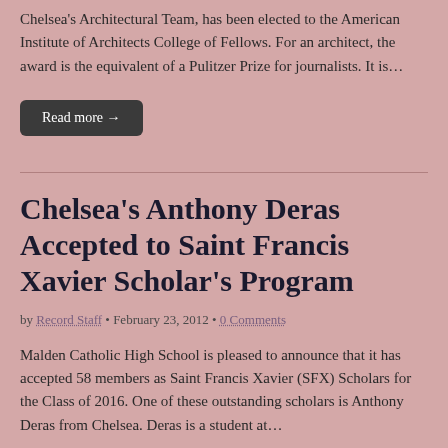Chelsea's Architectural Team, has been elected to the American Institute of Architects College of Fellows. For an architect, the award is the equivalent of a Pulitzer Prize for journalists. It is…
Read more →
Chelsea's Anthony Deras Accepted to Saint Francis Xavier Scholar's Program
by Record Staff • February 23, 2012 • 0 Comments
Malden Catholic High School is pleased to announce that it has accepted 58 members as Saint Francis Xavier (SFX) Scholars for the Class of 2016. One of these outstanding scholars is Anthony Deras from Chelsea. Deras is a student at…